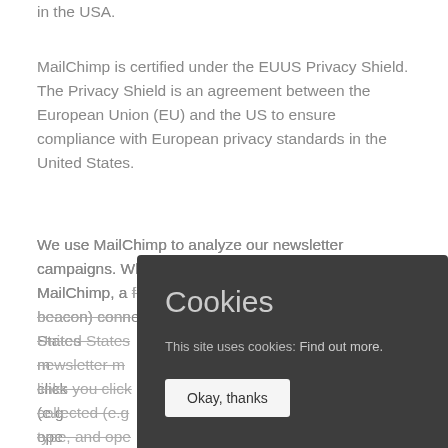in the USA.
MailChimp is certified under the EUUS Privacy Shield. The Privacy Shield is an agreement between the European Union (EU) and the US to ensure compliance with European privacy standards in the United States.
We use MailChimp to analyze our newsletter campaigns. When you open an email sent by MailChimp, a file included in the email (called a web beacon) connects to MailChimp's servers in the United States. This allows MailChimp to determine if newsletter messages have been opened and which links you clicked on. In addition, information is collected (e.g. your IP address, browser, email client type, and operating system) which cannot be assigned to a specific recipient. It is used
[Figure (screenshot): Cookie consent overlay box with dark grey background showing 'Cookies' heading, 'This site uses cookies: Find out more.' text, and an 'Okay, thanks' button.]